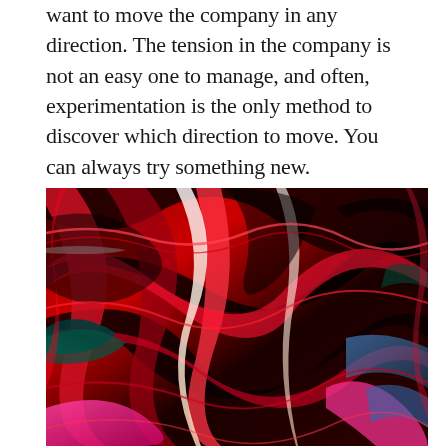want to move the company in any direction. The tension in the company is not an easy one to manage, and often, experimentation is the only method to discover which direction to move. You can always try something new.
[Figure (illustration): Abstract swirling pattern with flowing wavy lines in red, black, teal, pink, and white colors creating a dynamic optical illusion effect.]